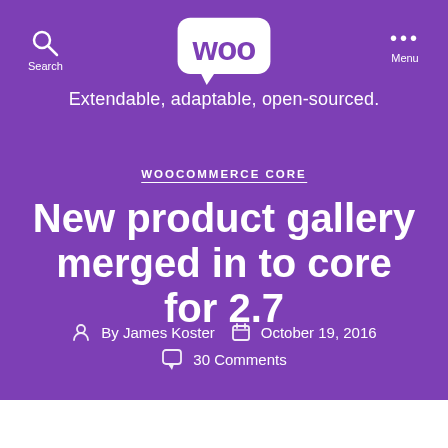[Figure (logo): WooCommerce logo: speech bubble with 'woo' text in white on purple background, tagline 'Extendable, adaptable, open-sourced.']
WOOCOMMERCE CORE
New product gallery merged in to core for 2.7
By James Koster   October 19, 2016   30 Comments